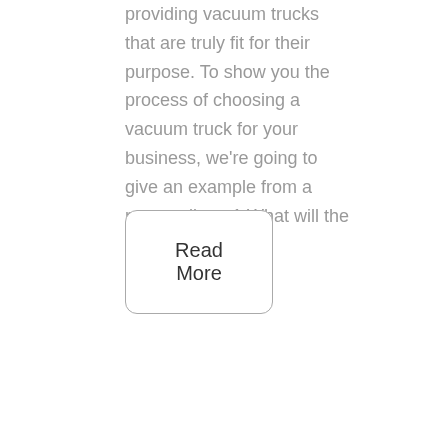providing vacuum trucks that are truly fit for their purpose. To show you the process of choosing a vacuum truck for your business, we're going to give an example from a recent client. 1 What will the truck be [...]
Read More